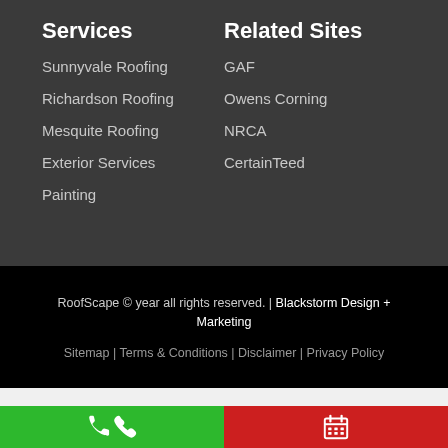Services
Sunnyvale Roofing
Richardson Roofing
Mesquite Roofing
Exterior Services
Painting
Related Sites
GAF
Owens Corning
NRCA
CertainTeed
RoofScape © year all rights reserved. | Blackstorm Design + Marketing
Sitemap | Terms & Conditions | Disclaimer | Privacy Policy
[Figure (infographic): Green button with phone icon and red button with calendar icon at the bottom of the page]